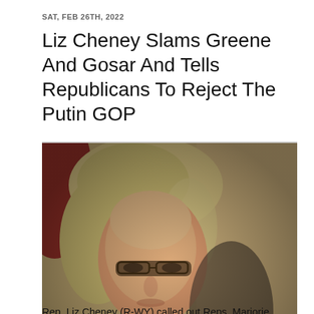SAT, FEB 26TH, 2022
Liz Cheney Slams Greene And Gosar And Tells Republicans To Reject The Putin GOP
[Figure (photo): Photo of Rep. Liz Cheney (R-WY) seated, wearing glasses and a light gray blazer over a dark top, with a serious expression. An American flag is visible in the background.]
Rep. Liz Cheney (R-WY) called out Reps. Marjorie Taylor